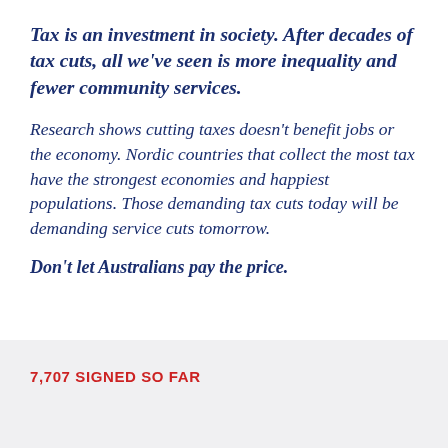Tax is an investment in society. After decades of tax cuts, all we've seen is more inequality and fewer community services.
Research shows cutting taxes doesn't benefit jobs or the economy. Nordic countries that collect the most tax have the strongest economies and happiest populations. Those demanding tax cuts today will be demanding service cuts tomorrow.
Don't let Australians pay the price.
7,707 SIGNED SO FAR